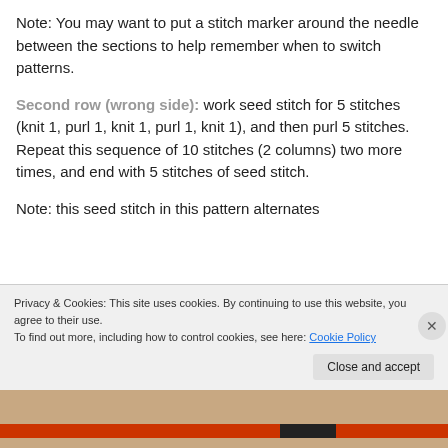Note: You may want to put a stitch marker around the needle between the sections to help remember when to switch patterns.
Second row (wrong side): work seed stitch for 5 stitches (knit 1, purl 1, knit 1, purl 1, knit 1), and then purl 5 stitches. Repeat this sequence of 10 stitches (2 columns) two more times, and end with 5 stitches of seed stitch.
Note: this seed stitch in this pattern alternates
Privacy & Cookies: This site uses cookies. By continuing to use this website, you agree to their use.
To find out more, including how to control cookies, see here: Cookie Policy